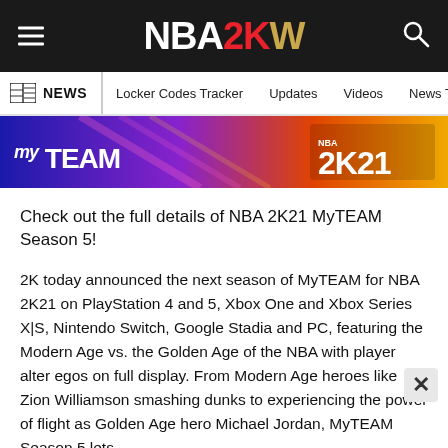NBA2KW
NEWS | Locker Codes Tracker | Updates | Videos | News T
[Figure (photo): NBA 2K21 MyTEAM promotional banner showing 'myTEAM' text on the left and '2K21' logo on the right with colorful background]
Check out the full details of NBA 2K21 MyTEAM Season 5!
2K today announced the next season of MyTEAM for NBA 2K21 on PlayStation 4 and 5, Xbox One and Xbox Series X|S, Nintendo Switch, Google Stadia and PC, featuring the Modern Age vs. the Golden Age of the NBA with player alter egos on full display. From Modern Age heroes like Zion Williamson smashing dunks to experiencing the power of flight as Golden Age hero Michael Jordan, MyTEAM Season 5 lets